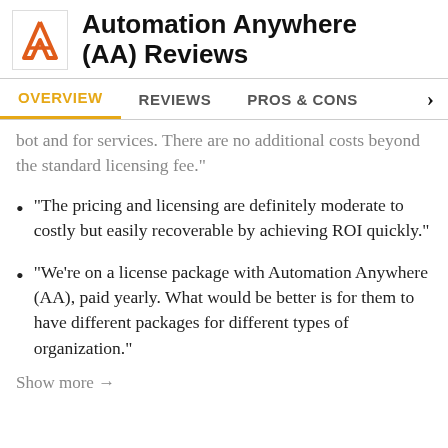Automation Anywhere (AA) Reviews
OVERVIEW | REVIEWS | PROS & CONS
bot and for services. There are no additional costs beyond the standard licensing fee."
"The pricing and licensing are definitely moderate to costly but easily recoverable by achieving ROI quickly."
"We're on a license package with Automation Anywhere (AA), paid yearly. What would be better is for them to have different packages for different types of organization."
Show more →